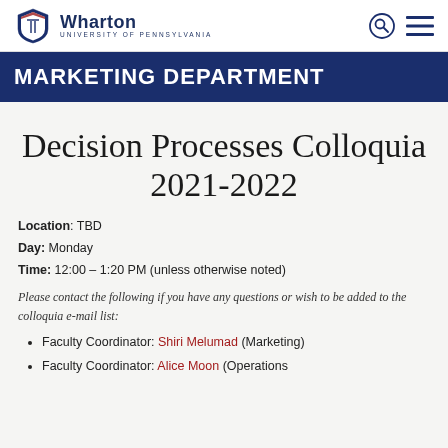Wharton University of Pennsylvania
MARKETING DEPARTMENT
Decision Processes Colloquia 2021-2022
Location: TBD
Day: Monday
Time: 12:00 – 1:20 PM (unless otherwise noted)
Please contact the following if you have any questions or wish to be added to the colloquia e-mail list:
Faculty Coordinator: Shiri Melumad (Marketing)
Faculty Coordinator: Alice Moon (Operations